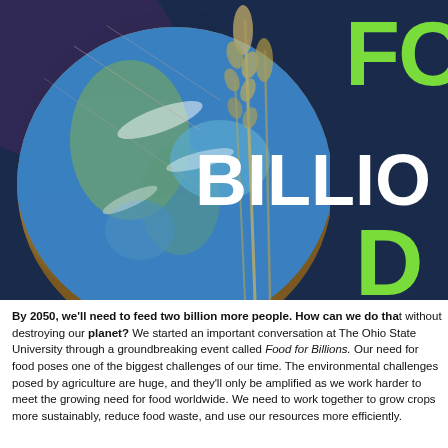[Figure (photo): A composite image showing Earth from space with wheat stalks overlaid, on a dark navy background. Large white bold text reads 'BILLIO' (part of 'BILLIONS') and large green bold letters 'FO' and 'D' (part of 'FOOD FOR BILLIONS') are visible on the right side, partially cropped.]
By 2050, we'll need to feed two billion more people. How can we do that without destroying our planet? We started an important conversation at The Ohio State University through a groundbreaking event called Food for Billions. Our need for food poses one of the biggest challenges of our time. The environmental challenges posed by agriculture are huge, and they'll only be amplified as we work harder to meet the growing need for food worldwide. We need to work together to grow crops more sustainably, reduce food waste, and use our resources more efficiently.